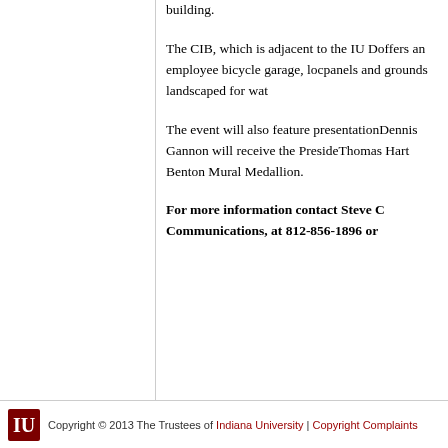building.
The CIB, which is adjacent to the IU D... offers an employee bicycle garage, lock... panels and grounds landscaped for wat...
The event will also feature presentation... Dennis Gannon will receive the Preside... Thomas Hart Benton Mural Medallion.
For more information contact Steve C... Communications, at 812-856-1896 or...
Copyright © 2013 The Trustees of Indiana University | Copyright Complaints